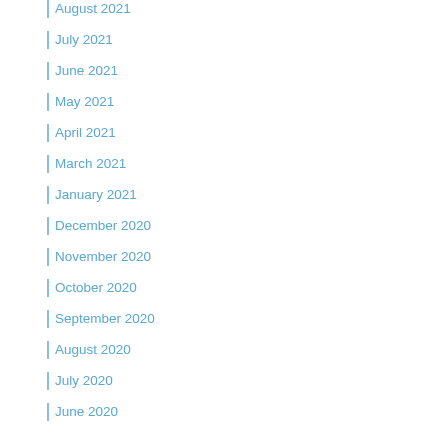August 2021
July 2021
June 2021
May 2021
April 2021
March 2021
January 2021
December 2020
November 2020
October 2020
September 2020
August 2020
July 2020
June 2020